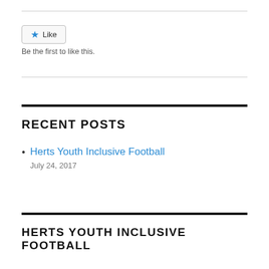[Figure (other): Like button widget with star icon and label 'Like']
Be the first to like this.
RECENT POSTS
Herts Youth Inclusive Football
July 24, 2017
HERTS YOUTH INCLUSIVE FOOTBALL